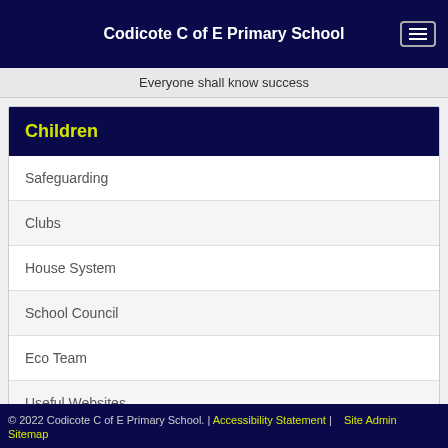Codicote C of E Primary School
Everyone shall know success
Children
Safeguarding
Clubs
House System
School Council
Eco Team
Useful Websites
© 2022 Codicote C of E Primary School. | Accessibility Statement | Site Admin Sitemap